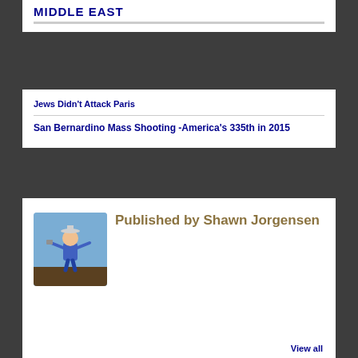MIDDLE EAST
Jews Didn't Attack Paris
San Bernardino Mass Shooting -America's 335th in 2015
Published by Shawn Jorgensen
[Figure (illustration): Cartoon avatar of a person with arms outstretched against a dark background]
View all